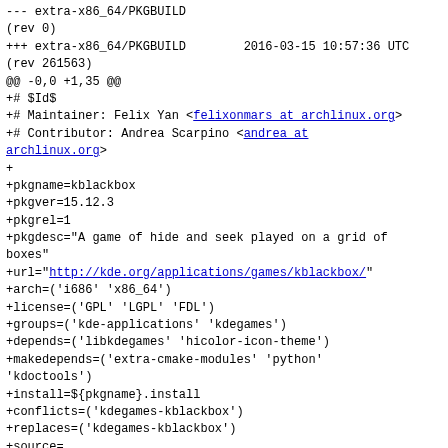--- extra-x86_64/PKGBUILD
(rev 0)
+++ extra-x86_64/PKGBUILD        2016-03-15 10:57:36 UTC
(rev 261563)
@@ -0,0 +1,35 @@
+# $Id$
+# Maintainer: Felix Yan <felixonmars at archlinux.org>
+# Contributor: Andrea Scarpino <andrea at archlinux.org>
+
+pkgname=kblackbox
+pkgver=15.12.3
+pkgrel=1
+pkgdesc="A game of hide and seek played on a grid of boxes"
+url="http://kde.org/applications/games/kblackbox/"
+arch=('i686' 'x86_64')
+license=('GPL' 'LGPL' 'FDL')
+groups=('kde-applications' 'kdegames')
+depends=('libkdegames' 'hicolor-icon-theme')
+makedepends=('extra-cmake-modules' 'python' 'kdoctools')
+install=${pkgname}.install
+conflicts=('kdegames-kblackbox')
+replaces=('kdegames-kblackbox')
+source=
("http://download.kde.org/stable/applications/${pkgver}/s
+sha1sums=('ed7e737c78e41281c088a4b0b89fd3226c31f8c4')
+
+build() {
+  mkdir -p build